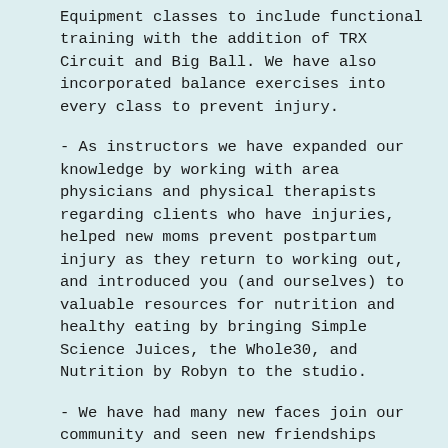Equipment classes to include functional training with the addition of TRX Circuit and Big Ball. We have also incorporated balance exercises into every class to prevent injury.
- As instructors we have expanded our knowledge by working with area physicians and physical therapists regarding clients who have injuries, helped new moms prevent postpartum injury as they return to working out, and introduced you (and ourselves) to valuable resources for nutrition and healthy eating by bringing Simple Science Juices, the Whole30, and Nutrition by Robyn to the studio.
- We have had many new faces join our community and seen new friendships form. Additionally, WE are forming friendships with you - yet another job perk.
I honestly believe we have the BEST clients, the BEST group of instructors, and the BEST job. To